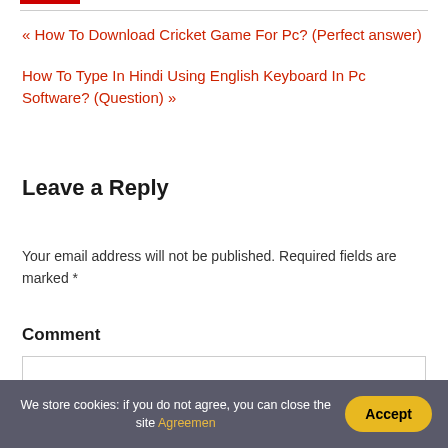« How To Download Cricket Game For Pc? (Perfect answer)
How To Type In Hindi Using English Keyboard In Pc Software? (Question) »
Leave a Reply
Your email address will not be published. Required fields are marked *
Comment
We store cookies: if you do not agree, you can close the site Agreemen